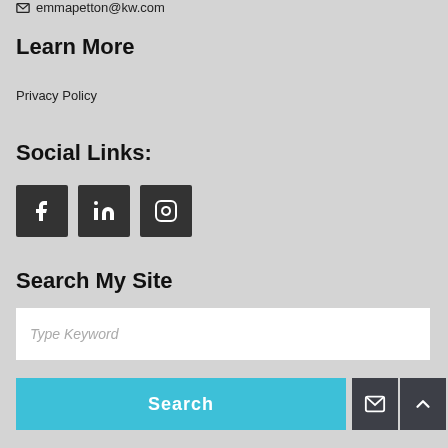emmapetton@kw.com
Learn More
Privacy Policy
Social Links:
[Figure (other): Three social media icon buttons: Facebook (f), LinkedIn (in), Instagram (camera icon), each in a dark square button]
Search My Site
Type Keyword
Search